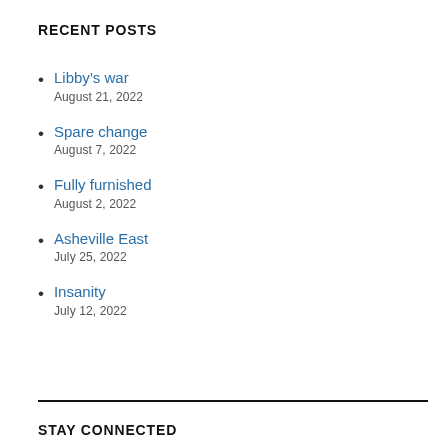RECENT POSTS
Libby’s war
August 21, 2022
Spare change
August 7, 2022
Fully furnished
August 2, 2022
Asheville East
July 25, 2022
Insanity
July 12, 2022
STAY CONNECTED